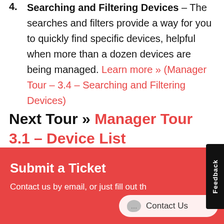4. Searching and Filtering Devices – The searches and filters provide a way for you to quickly find specific devices, helpful when more than a dozen devices are being managed. Learn more » (Manager Tour – 3.4 – Searching and Filtering Devices)
Next Tour » Manager Tour 3.1 – Device List
Submit a Ticket
Contact us by email, or just fill out th…